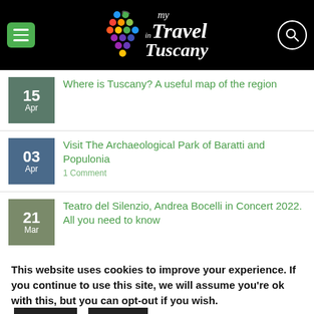[Figure (logo): my inTravel Tuscany website logo on black background with colorful dot grape cluster and hamburger menu button and search icon]
15 Apr — Where is Tuscany? A useful map of the region
03 Apr — Visit The Archaeological Park of Baratti and Populonia — 1 Comment
21 Mar — Teatro del Silenzio, Andrea Bocelli in Concert 2022. All you need to know
This website uses cookies to improve your experience. If you continue to use this site, we will assume you're ok with this, but you can opt-out if you wish. Accept Reject Cookies Policy Privacy Policy